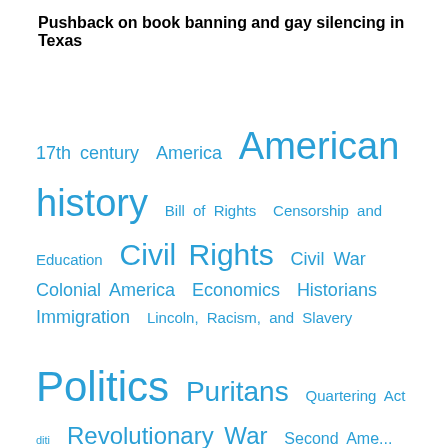Pushback on book banning and gay silencing in Texas
[Figure (infographic): Tag cloud with topics including: 17th century, America, American history, Bill of Rights, Censorship and Education, Civil Rights, Civil War, Colonial America, Economics, Historians, Immigration, Lincoln Racism and Slavery, Politics, Puritans, Quartering Act, politics, Revolutionary War, Second Amendment. Tags are displayed in varying font sizes in teal/blue color indicating frequency/weight.]